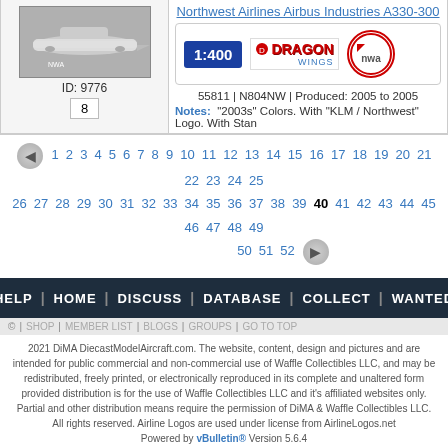[Figure (photo): Model aircraft photo - Northwest Airlines Airbus A330-300 diecast model, gray/silver livery]
ID: 9776
8
Northwest Airlines Airbus Industries A330-300
1:400  DRAGON WINGS  nwa
55811 | N804NW | Produced: 2005 to 2005
Notes: "2003s" Colors. With "KLM / Northwest" Logo. With Stan
1 2 3 4 5 6 7 8 9 10 11 12 13 14 15 16 17 18 19 20 21 22 23 24 25 26 27 28 29 30 31 32 33 34 35 36 37 38 39 40 41 42 43 44 45 46 47 48 49 50 51 52
HELP | HOME | DISCUSS | DATABASE | COLLECT | WANTED
© | SHOP | MEMBER LIST | BLOGS | GROUPS | GO TO TOP
2021 DiMA DiecastModelAircraft.com. The website, content, design and pictures and are intended for public commercial and non-commercial use of Waffle Collectibles LLC, and may be redistributed, freely printed, or electronically reproduced in its complete and unaltered form provided distribution is for the use of Waffle Collectibles LLC and it's affiliated websites only. Partial and other distribution means require the permission of DiMA & Waffle Collectibles LLC. All rights reserved. Airline Logos are used under license from AirlineLogos.net
Powered by vBulletin® Version 5.6.4
Copyright © 2021 MH Sub I, LLC dba vBulletin. All rights reserved.
All times are GMT-5. This page was generated at 10:21 AM.